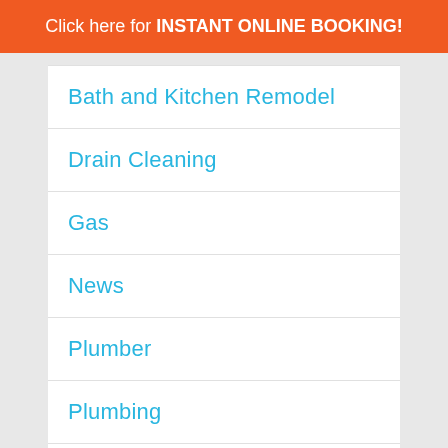Click here for INSTANT ONLINE BOOKING!
Bath and Kitchen Remodel
Drain Cleaning
Gas
News
Plumber
Plumbing
Quality Plumbing Fixtures
Services